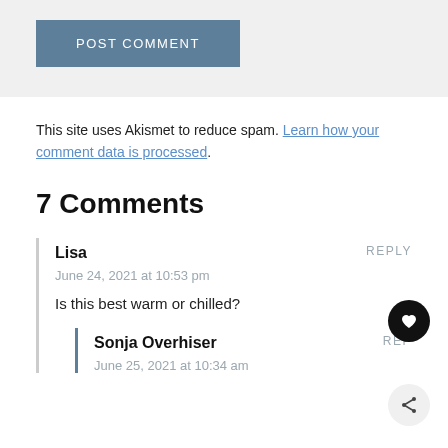POST COMMENT
This site uses Akismet to reduce spam. Learn how your comment data is processed.
7 Comments
Lisa
June 24, 2021 at 10:53 pm
Is this best warm or chilled?
Sonja Overhiser
June 25, 2021 at 10:34 am